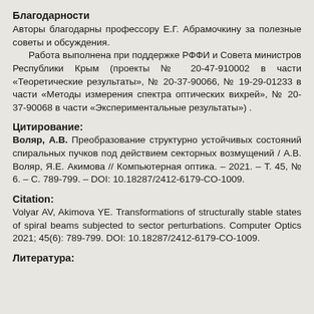Благодарности
Авторы благодарны профессору Е.Г. Абрамочкину за полезные советы и обсуждения.
      Работа выполнена при поддержке РФФИ и Совета министров Республики Крым (проекты № 20-47-910002 в части «Теоретические результаты», № 20-37-90066, № 19-29-01233 в части «Методы измерения спектра оптических вихрей», № 20-37-90068 в части «Экспериментальные результаты») .
Цитирование:
Воляр, А.В. Преобразование структурно устойчивых состояний спиральных пучков под действием секторных возмущений / А.В. Воляр, Я.Е. Акимова // Компьютерная оптика. – 2021. – Т. 45, № 6. – С. 789-799. – DOI: 10.18287/2412-6179-CO-1009.
Citation:
Volyar AV, Akimova YE. Transformations of structurally stable states of spiral beams subjected to sector perturbations. Computer Optics 2021; 45(6): 789-799. DOI: 10.18287/2412-6179-CO-1009.
Литература: